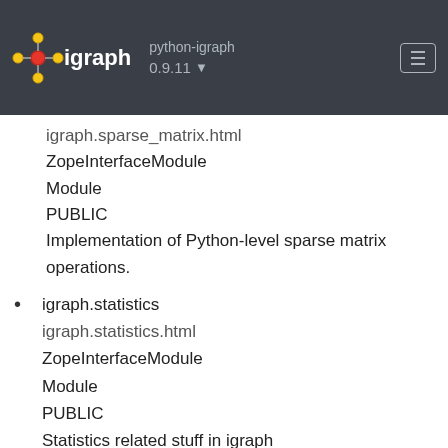python-igraph 0.9.11 igraph
igraph.sparse_matrix.html
ZopeInterfaceModule
Module
PUBLIC
Implementation of Python-level sparse matrix operations.
igraph.statistics
igraph.statistics.html
ZopeInterfaceModule
Module
PUBLIC
Statistics related stuff in igraph
igraph.summary
igraph.summary.html
ZopeInterfaceModule